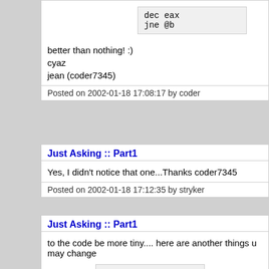[Figure (screenshot): Code snippet showing 'dec eax' and 'jne @b']
better than nothing! :)
cyaz
jean (coder7345)
Posted on 2002-01-18 17:08:17 by coder
Just Asking :: Part1
Yes, I didn't notice that one...Thanks coder7345
Posted on 2002-01-18 17:12:35 by stryker
Just Asking :: Part1
to the code be more tiny.... here are another things u may change
[Figure (screenshot): Code snippet showing 'mov eax, ecx', 'xor ecx, ecx', '@@:', 'pop edx']